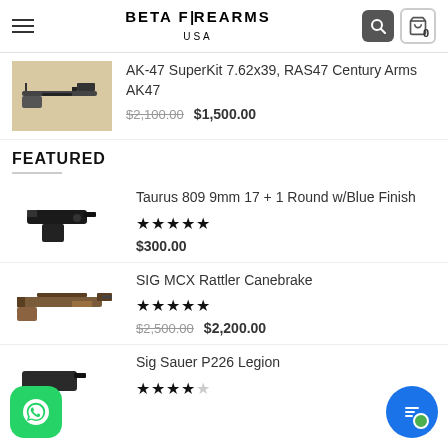BETA FIREARMS USA
AK-47 SuperKit 7.62x39, RAS47 Century Arms AK47
Original price: $2,100.00  Sale price: $1,500.00
FEATURED
Taurus 809 9mm 17 + 1 Round w/Blue Finish
Rating: 5 stars. Price: $300.00
SIG MCX Rattler Canebrake
Rating: 5 stars. Original price: $2,500.00  Sale price: $2,200.00
Sig Sauer P226 Legion
Rating: 5 stars (partial shown)